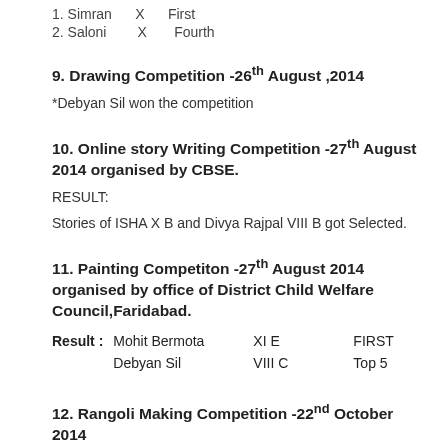1. Simran    X    First
2. Saloni    X    Fourth
9. Drawing Competition -26th August ,2014
*Debyan Sil won the competition
10. Online story Writing Competition -27th August 2014 organised by CBSE.
RESULT:
Stories of ISHA X B and Divya Rajpal VIII B got Selected.
11. Painting Competiton -27th August 2014 organised by office of District Child Welfare Council,Faridabad.
| Result : | Name | Grade | Position |
| --- | --- | --- | --- |
| Result : | Mohit Bermota | XI E | FIRST |
|  | Debyan Sil | VIII C | Top 5 |
12. Rangoli Making Competition -22nd October 2014